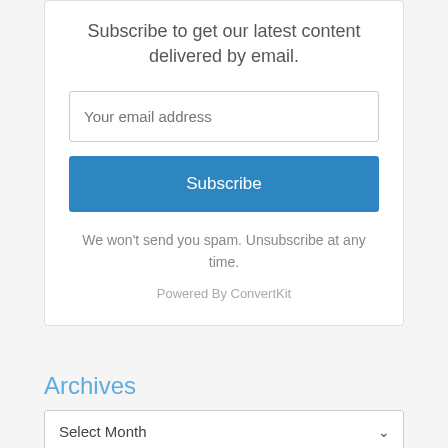Subscribe to get our latest content delivered by email.
Your email address
Subscribe
We won't send you spam. Unsubscribe at any time.
Powered By ConvertKit
Archives
Select Month